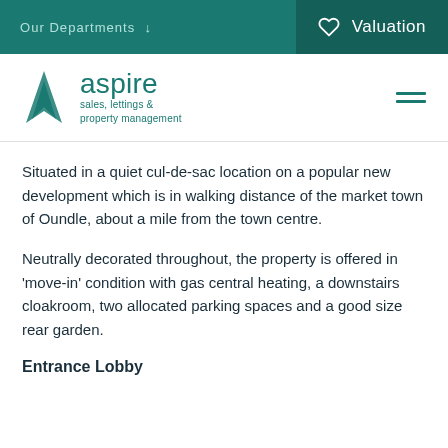Our Departments ↓    ♡  Valuation
[Figure (logo): Aspire sales, lettings & property management logo with teal triangle icon]
Situated in a quiet cul-de-sac location on a popular new development which is in walking distance of the market town of Oundle, about a mile from the town centre.
Neutrally decorated throughout, the property is offered in 'move-in' condition with gas central heating, a downstairs cloakroom, two allocated parking spaces and a good size rear garden.
Entrance Lobby